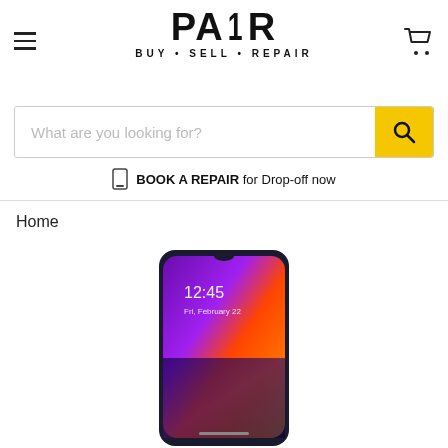[Figure (logo): PAIR BUY · SELL · REPAIR logo in bold black lettering]
What are you looking for?
BOOK A REPAIR for Drop-off now
Home
[Figure (photo): Samsung Galaxy A50 smartphone with colorful purple/orange lock screen showing 12:45 Fri, February 22]